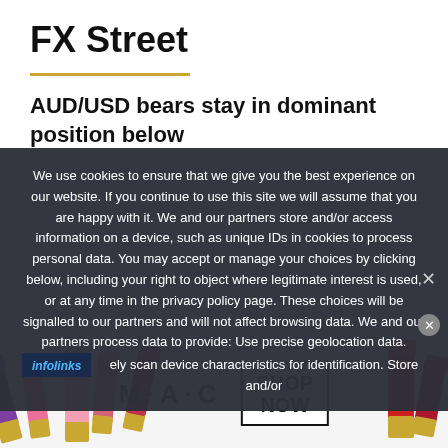FX Street
AUD/USD bears stay in dominant position below
We use cookies to ensure that we give you the best experience on our website. If you continue to use this site we will assume that you are happy with it. We and our partners store and/or access information on a device, such as unique IDs in cookies to process personal data. You may accept or manage your choices by clicking below, including your right to object where legitimate interest is used, or at any time in the privacy policy page. These choices will be signalled to our partners and will not affect browsing data. We and our partners process data to provide: Use precise geolocation data. Actively scan device characteristics for identification. Store and/or
[Figure (screenshot): Advertisement banner for MAC cosmetics showing lipsticks on left and right, MAC logo in center, and SHOP NOW button in a box]